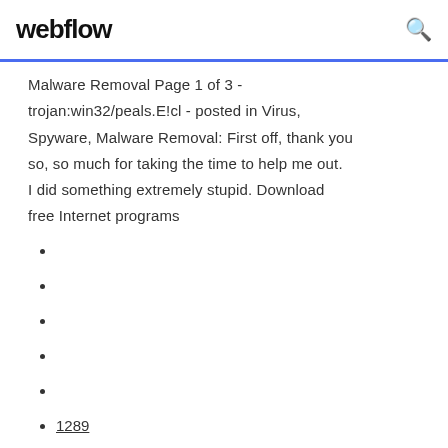webflow
Malware Removal Page 1 of 3 - trojan:win32/peals.E!cl - posted in Virus, Spyware, Malware Removal: First off, thank you so, so much for taking the time to help me out. I did something extremely stupid. Download free Internet programs
1289
1703